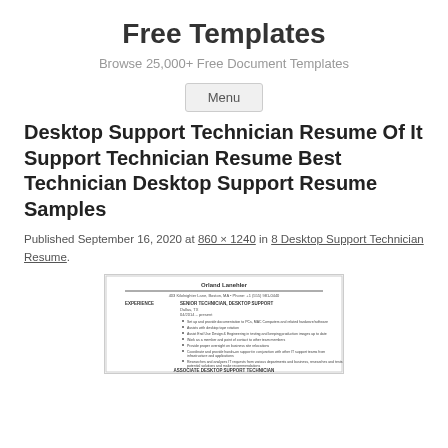Free Templates
Browse 25,000+ Free Document Templates
Menu
Desktop Support Technician Resume Of It Support Technician Resume Best Technician Desktop Support Resume Samples
Published September 16, 2020 at 860 × 1240 in 8 Desktop Support Technician Resume.
[Figure (other): Thumbnail preview of a desktop support technician resume document]